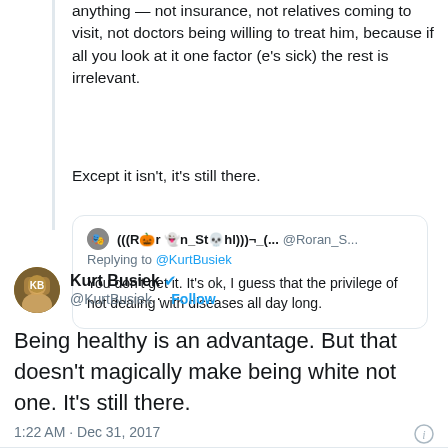anything — not insurance, not relatives coming to visit, not doctors being willing to treat him, because if all you look at it one factor (e's sick) the rest is irrelevant.
Except it isn't, it's still there.
(((R🎃r 👻n_St💀hl)))¬_(... @Roran_S... Replying to @KurtBusiek You don't get it. It's ok, I guess that the privilege of not dealing with diseases all day long.
Kurt Busiek @KurtBusiek · Follow
Being healthy is an advantage. But that doesn't magically make being white not one. It's still there.
1:22 AM · Dec 31, 2017